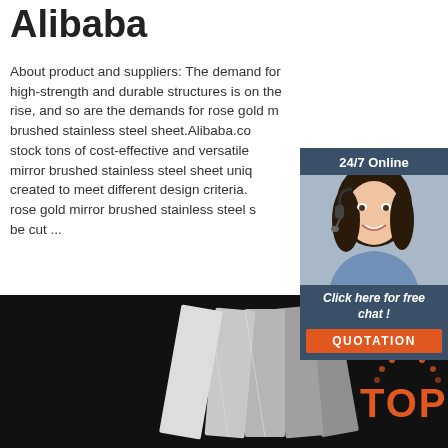Alibaba
About product and suppliers: The demand for high-strength and durable structures is on the rise, and so are the demands for rose gold mirror brushed stainless steel sheet.Alibaba.co stock tons of cost-effective and versatile mirror brushed stainless steel sheet unique created to meet different design criteria. rose gold mirror brushed stainless steel be cut ...
[Figure (photo): Customer service representative widget with '24/7 Online' header, photo of woman with headset, 'Click here for free chat!' text, and orange QUOTATION button]
[Figure (photo): Bottom image showing multiple brushed stainless steel sheets fanned out on dark background, with TOP logo in bottom right]
[Figure (logo): TOP logo with dotted arc over orange text]